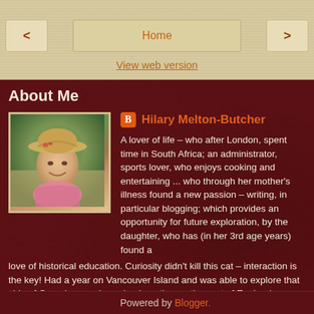< Home >
View web version
About Me
[Figure (photo): Profile photo of Hilary Melton-Butcher wearing a straw hat, smiling, in a garden setting]
Hilary Melton-Butcher
A lover of life – who after London, spent time in South Africa; an administrator, sports lover, who enjoys cooking and entertaining ... who through her mother's illness found a new passion – writing, in particular blogging; which provides an opportunity for future exploration, by the daughter, who has (in her 3rd age years) found a love of historical education. Curiosity didn't kill this cat – interaction is the key! Had a year on Vancouver Island and was able to explore that side of Canada ... and now back on the south coast of England ...
View my complete profile
Powered by Blogger.